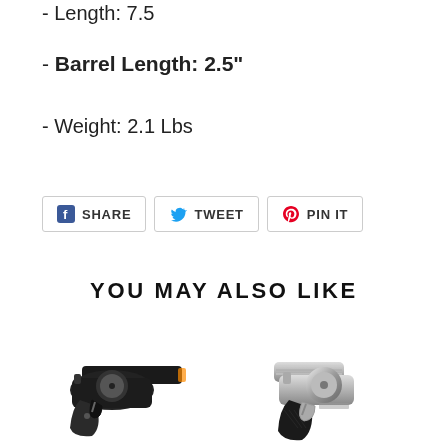- Length: 7.5
- Barrel Length: 2.5"
- Weight: 2.1 Lbs
[Figure (other): Social sharing buttons: Facebook Share, Twitter Tweet, Pinterest Pin It]
YOU MAY ALSO LIKE
[Figure (photo): Black revolver handgun facing right]
[Figure (photo): Silver/chrome revolver handgun facing right with black grip]